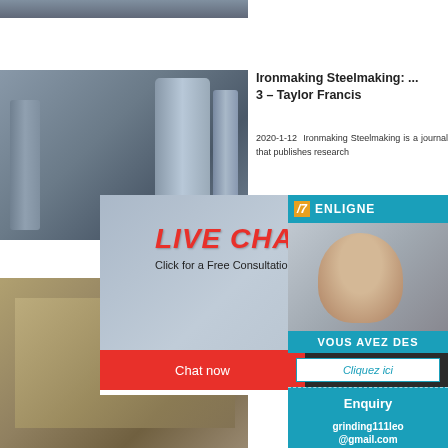[Figure (photo): Industrial steelmaking facility - partial view at top]
[Figure (photo): Industrial ironmaking facility with large tanks and pipes]
Ironmaking Steelmaking: ... 3 - Taylor Francis
2020-1-12  Ironmaking Steelmaking is a journal that publishes research i... nce... nin... on...
[Figure (photo): Live Chat popup overlay with workers in hard hats]
[Figure (infographic): ENLIGNE online chat sidebar with agent photo, VOUS AVEZ DES, Cliquez ici, Enquiry, grinding111leo@gmail.com]
Ironmaki... Steelmak...ak...
2015-7-17  Ir... elm... download as... t F... presentation ... ras... Iron and Steel...